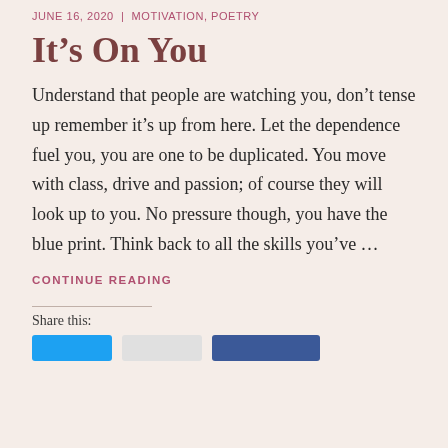JUNE 16, 2020 | MOTIVATION, POETRY
It’s On You
Understand that people are watching you, don’t tense up remember it’s up from here. Let the dependence fuel you, you are one to be duplicated. You move with class, drive and passion; of course they will look up to you. No pressure though, you have the blue print. Think back to all the skills you’ve …
CONTINUE READING
Share this: